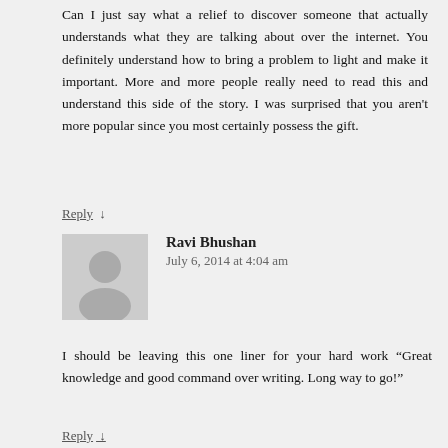Can I just say what a relief to discover someone that actually understands what they are talking about over the internet. You definitely understand how to bring a problem to light and make it important. More and more people really need to read this and understand this side of the story. I was surprised that you aren't more popular since you most certainly possess the gift.
Reply ↓
Ravi Bhushan
July 6, 2014 at 4:04 am
I should be leaving this one liner for your hard work "Great knowledge and good command over writing. Long way to go!"
Reply ↓